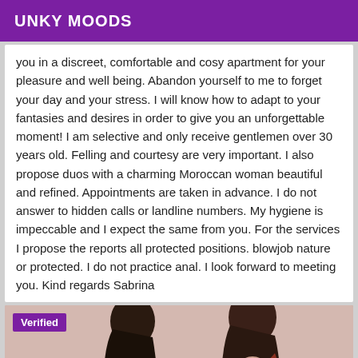UNKY MOODS
you in a discreet, comfortable and cosy apartment for your pleasure and well being. Abandon yourself to me to forget your day and your stress. I will know how to adapt to your fantasies and desires in order to give you an unforgettable moment! I am selective and only receive gentlemen over 30 years old. Felling and courtesy are very important. I also propose duos with a charming Moroccan woman beautiful and refined. Appointments are taken in advance. I do not answer to hidden calls or landline numbers. My hygiene is impeccable and I expect the same from you. For the services I propose the reports all protected positions. blowjob nature or protected. I do not practice anal. I look forward to meeting you. Kind regards Sabrina
[Figure (photo): Photo of two women showing shoulders and hair, with a purple Verified badge overlay in the top left corner]